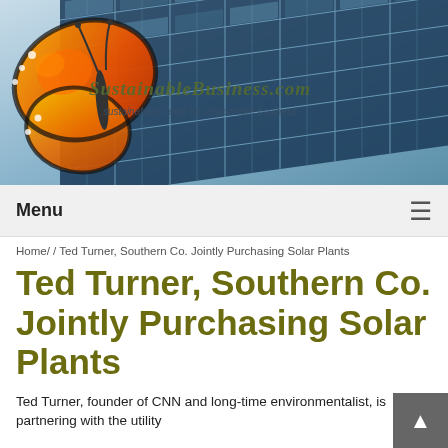[Figure (photo): Website header image showing solar panels in the background with a butterfly on the left, and the SustainableBusiness.com site title and tagline overlaid]
Menu ☰
Home/ / Ted Turner, Southern Co. Jointly Purchasing Solar Plants
Ted Turner, Southern Co. Jointly Purchasing Solar Plants
Ted Turner, founder of CNN and long-time environmentalist, is partnering with the utility